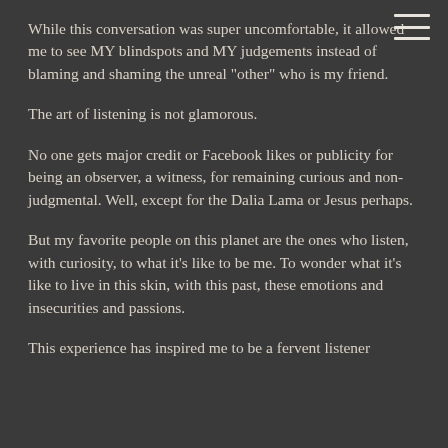While this conversation was super uncomfortable, it allowed me to see MY blindspots and MY judgements instead of blaming and shaming the unreal "other" who is my friend.
The art of listening is not glamorous.
No one gets major credit or Facebook likes or publicity for being an observer, a witness, for remaining curious and non-judgmental. Well, except for the Dalia Lama or Jesus perhaps.
But my favorite people on this planet are the ones who listen, with curiosity, to what it's like to be me. To wonder what it's like to live in this skin, with this past, these emotions and insecurities and passions.
This experience has inspired me to be a fervent listener